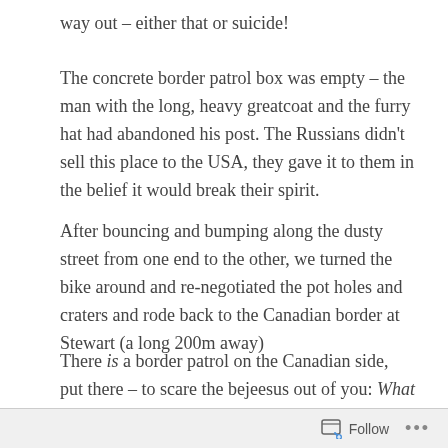way out – either that or suicide!
The concrete border patrol box was empty – the man with the long, heavy greatcoat and the furry hat had abandoned his post. The Russians didn't sell this place to the USA, they gave it to them in the belief it would break their spirit.
After bouncing and bumping along the dusty street from one end to the other, we turned the bike around and re-negotiated the pot holes and craters and rode back to the Canadian border at Stewart (a long 200m away)
There is a border patrol on the Canadian side,  put there – to scare the bejeesus out of you: What if they won't let us back into Canada? Oh God, we'll have to build a raft from all the rotting wood from those derelict cabins, tie the bike and us on and drift down the Pacific Ocean to Hawaii or
Follow ...